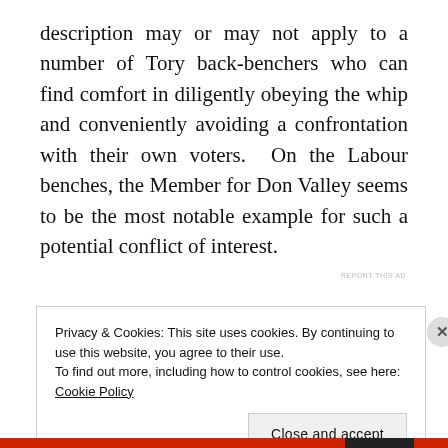description may or may not apply to a number of Tory back-benchers who can find comfort in diligently obeying the whip and conveniently avoiding a confrontation with their own voters. On the Labour benches, the Member for Don Valley seems to be the most notable example for such a potential conflict of interest.
REPORT THIS AD
Privacy & Cookies: This site uses cookies. By continuing to use this website, you agree to their use.
To find out more, including how to control cookies, see here: Cookie Policy
Close and accept